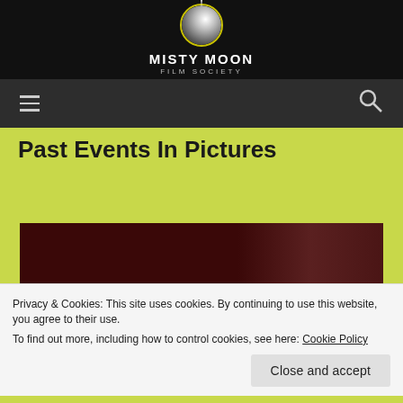[Figure (logo): Misty Moon Film Society logo: circular logo with moon image, text MISTY MOON FILM SOCIETY on dark background]
[Figure (screenshot): Navigation bar with hamburger menu icon on left and search icon on right on dark grey background]
Past Events In Pictures
[Figure (photo): Dark reddish-brown photo, partially visible, appears to be from a past event]
Privacy & Cookies: This site uses cookies. By continuing to use this website, you agree to their use.
To find out more, including how to control cookies, see here: Cookie Policy
Close and accept